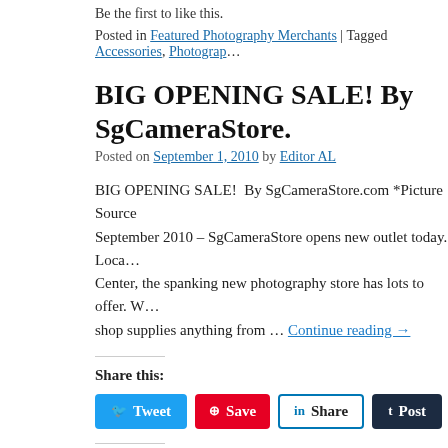Be the first to like this.
Posted in Featured Photography Merchants | Tagged Accessories, Photograp…
BIG OPENING SALE! By SgCameraStore.
Posted on September 1, 2010 by Editor AL
BIG OPENING SALE!  By SgCameraStore.com *Picture Source September 2010 – SgCameraStore opens new outlet today. Located at Center, the spanking new photography store has lots to offer. With shop supplies anything from … Continue reading →
Share this:
[Figure (other): Social share buttons: Tweet, Save, Share, Post]
Like this:
[Figure (other): Like button widget]